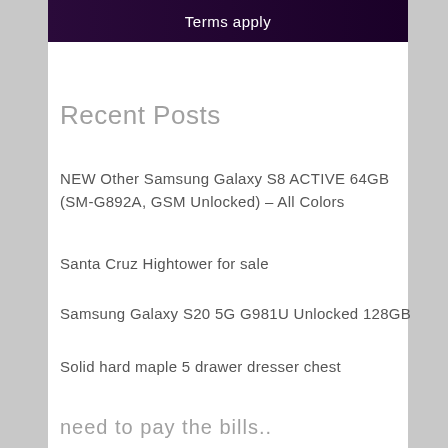[Figure (other): Dark purple/black gradient banner with white text 'Terms apply']
Recent Posts
NEW Other Samsung Galaxy S8 ACTIVE 64GB (SM-G892A, GSM Unlocked) – All Colors
Santa Cruz Hightower for sale
Samsung Galaxy S20 5G G981U Unlocked 128GB
Solid hard maple 5 drawer dresser chest
need to pay the bills..